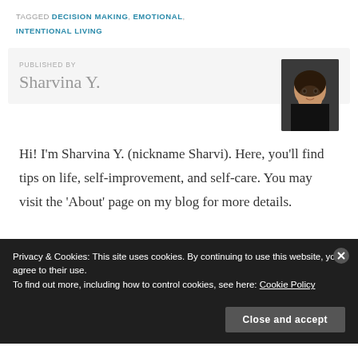TAGGED DECISION MAKING, EMOTIONAL, INTENTIONAL LIVING
PUBLISHED BY
Sharvina Y.
[Figure (photo): Portrait photo of Sharvina Y., a woman with dark hair against a dark background]
Hi! I'm Sharvina Y. (nickname Sharvi). Here, you'll find tips on life, self-improvement, and self-care. You may visit the 'About' page on my blog for more details.
Privacy & Cookies: This site uses cookies. By continuing to use this website, you agree to their use.
To find out more, including how to control cookies, see here: Cookie Policy
Close and accept